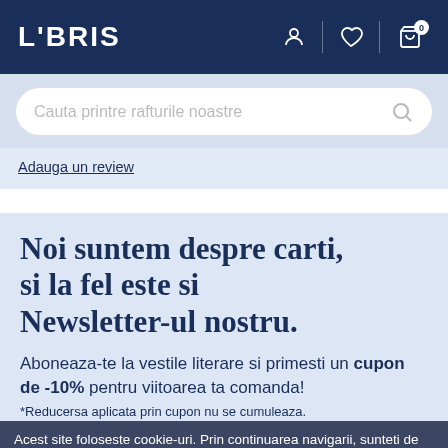LIBRIS — navigation bar with logo, user icon, wishlist icon, cart icon (badge: 0)
Cauta printre rafturile noastre
Adauga un review
Noi suntem despre carti, si la fel este si Newsletter-ul nostru.
Aboneaza-te la vestile literare si primesti un cupon de -10% pentru viitoarea ta comanda!
*Reducerea aplicata prin cupon nu se cumuleaza.
Acest site foloseste cookie-uri. Prin continuarea navigarii, sunteti de acord cu utilizarea lor. Politica